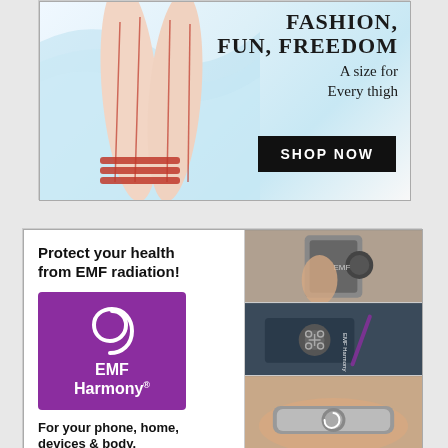[Figure (photo): Advertisement for hosiery/stockings. Shows legs wearing stockings with red stripe bands, against a blue swirl background. Text reads: FASHION, FUN, FREEDOM / A size for Every thigh / SHOP NOW button.]
[Figure (photo): Advertisement for EMF Harmony. Left side shows: 'Protect your health from EMF radiation!' headline, EMF Harmony purple logo with spiral, tagline 'For your phone, home, devices & body.', and LEARN MORE button. Right side shows three photos of EMF Harmony products including phone sticker, bag device, and wrist band.]